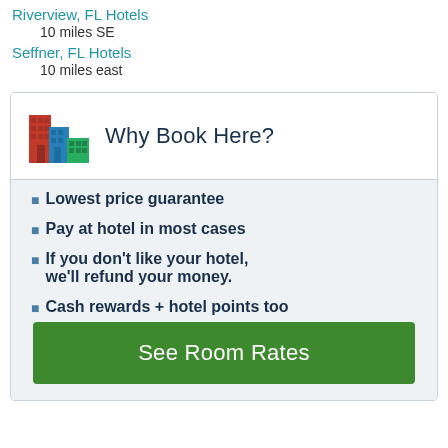Riverview, FL Hotels
10 miles SE
Seffner, FL Hotels
10 miles east
Why Book Here?
Lowest price guarantee
Pay at hotel in most cases
If you don't like your hotel, we'll refund your money.
Cash rewards + hotel points too
See Room Rates